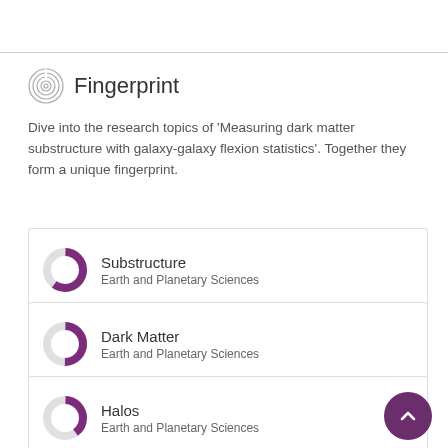Fingerprint
Dive into the research topics of 'Measuring dark matter substructure with galaxy-galaxy flexion statistics'. Together they form a unique fingerprint.
Substructure — Earth and Planetary Sciences
Dark Matter — Earth and Planetary Sciences
Halos — Earth and Planetary Sciences
Galaxy